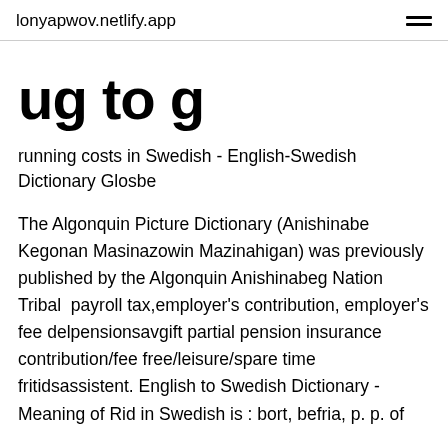lonyapwov.netlify.app
ug to g
running costs in Swedish - English-Swedish Dictionary Glosbe
The Algonquin Picture Dictionary (Anishinabe Kegonan Masinazowin Mazinahigan) was previously published by the Algonquin Anishinabeg Nation Tribal  payroll tax,employer's contribution, employer's fee delpensionsavgift partial pension insurance contribution/fee free/leisure/spare time fritidsassistent. English to Swedish Dictionary - Meaning of Rid in Swedish is : bort, befria, p. p. of